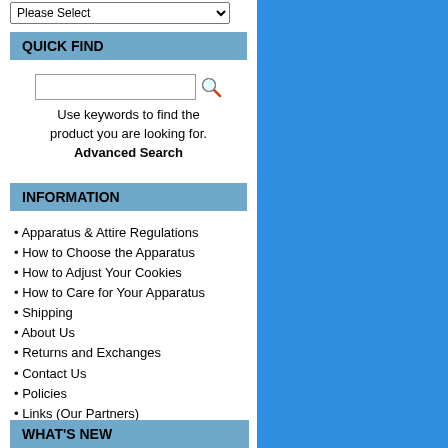QUICK FIND
[Figure (screenshot): Search input box with magnifier icon]
Use keywords to find the product you are looking for.
Advanced Search
INFORMATION
• Apparatus & Attire Regulations
• How to Choose the Apparatus
• How to Adjust Your Cookies
• How to Care for Your Apparatus
• Shipping
• About Us
• Returns and Exchanges
• Contact Us
• Policies
• Links (Our Partners)
• Site Map
• Pictures
• Kondakova in BLESK Leotards
WHAT'S NEW